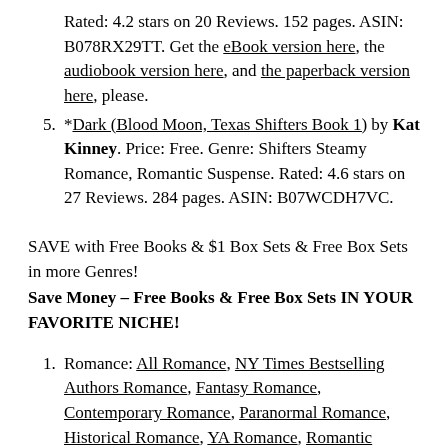Rated: 4.2 stars on 20 Reviews. 152 pages. ASIN: B078RX29TT. Get the eBook version here, the audiobook version here, and the paperback version here, please.
5. *Dark (Blood Moon, Texas Shifters Book 1) by Kat Kinney. Price: Free. Genre: Shifters Steamy Romance, Romantic Suspense. Rated: 4.6 stars on 27 Reviews. 284 pages. ASIN: B07WCDH7VC.
SAVE with Free Books & $1 Box Sets & Free Box Sets in more Genres!
Save Money – Free Books & Free Box Sets IN YOUR FAVORITE NICHE!
1. Romance: All Romance, NY Times Bestselling Authors Romance, Fantasy Romance, Contemporary Romance, Paranormal Romance, Historical Romance, YA Romance, Romantic Suspense,